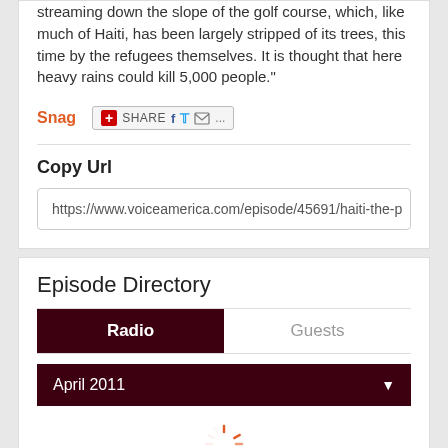streaming down the slope of the golf course, which, like much of Haiti, has been largely stripped of its trees, this time by the refugees themselves. It is thought that here heavy rains could kill 5,000 people."
Snag  SHARE
Copy Url
https://www.voiceamerica.com/episode/45691/haiti-the-p
Episode Directory
Radio  Guests
April 2011
March 2011